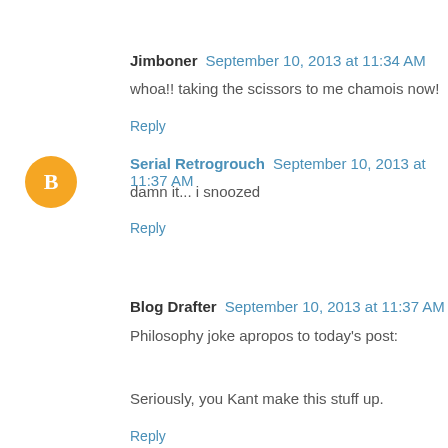Jimboner  September 10, 2013 at 11:34 AM
whoa!! taking the scissors to me chamois now!
Reply
Serial Retrogrouch  September 10, 2013 at 11:37 AM
damn it... i snoozed
Reply
Blog Drafter  September 10, 2013 at 11:37 AM
Philosophy joke apropos to today's post:
Seriously, you Kant make this stuff up.
Reply